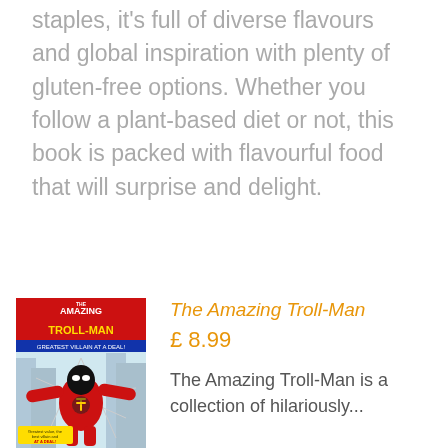staples, it's full of diverse flavours and global inspiration with plenty of gluten-free options. Whether you follow a plant-based diet or not, this book is packed with flavourful food that will surprise and delight.
[Figure (illustration): Comic book cover for 'The Amazing Troll-Man' featuring a superhero in red costume with a T on chest, breaking through a wall]
The Amazing Troll-Man
£ 8.99
The Amazing Troll-Man is a collection of hilariously...